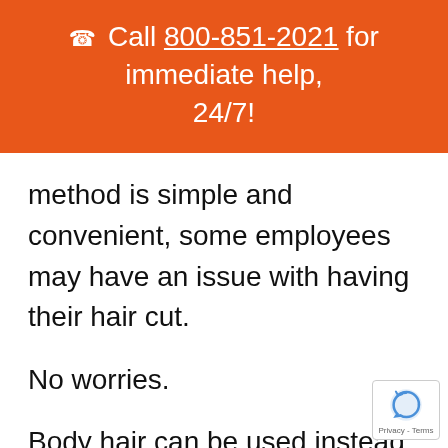📞 Call 800-851-2021 for immediate help, 24/7!
method is simple and convenient, some employees may have an issue with having their hair cut.
No worries.
Body hair can be used instead and is tested by volume rather than length. Administrators collect enough hair